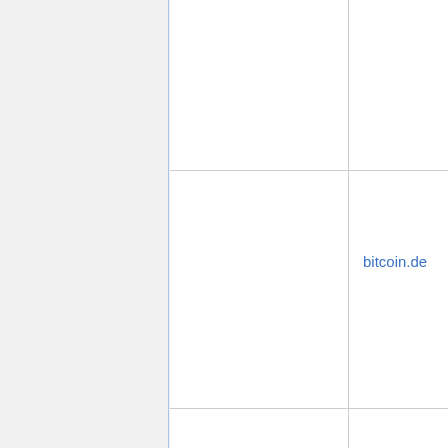|  | bitcoin.de | Market |
| --- | --- | --- |
|  |  |  |
|  | bitcoin.de | Market |
|  |  |  |